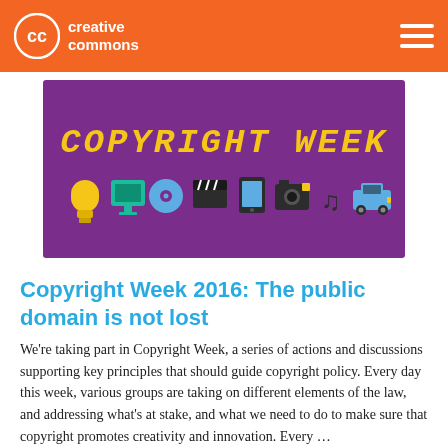creative commons
[Figure (illustration): Purple background banner with 'COPYRIGHT WEEK' text in yellow pixel-style font and icons of various media (lightbulb, TV/monitor, disc, film slate, tablet, camera, music notes, car)]
Copyright Week 2016: The public domain is not lost
We're taking part in Copyright Week, a series of actions and discussions supporting key principles that should guide copyright policy. Every day this week, various groups are taking on different elements of the law, and addressing what's at stake, and what we need to do to make sure that copyright promotes creativity and innovation. Every …
READ MORE ▶
WEBLOG